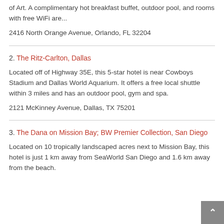of Art. A complimentary hot breakfast buffet, outdoor pool, and rooms with free WiFi are...
2416 North Orange Avenue, Orlando, FL 32204
2. The Ritz-Carlton, Dallas
Located off of Highway 35E, this 5-star hotel is near Cowboys Stadium and Dallas World Aquarium. It offers a free local shuttle within 3 miles and has an outdoor pool, gym and spa.
2121 McKinney Avenue, Dallas, TX 75201
3. The Dana on Mission Bay; BW Premier Collection, San Diego
Located on 10 tropically landscaped acres next to Mission Bay, this hotel is just 1 km away from SeaWorld San Diego and 1.6 km away from the beach.